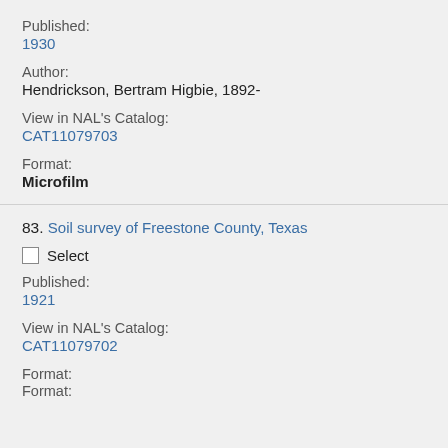Published:
1930
Author:
Hendrickson, Bertram Higbie, 1892-
View in NAL's Catalog:
CAT11079703
Format:
Microfilm
83. Soil survey of Freestone County, Texas
Select
Published:
1921
View in NAL's Catalog:
CAT11079702
Format:
Microfilm